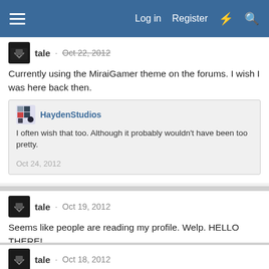Log in  Register
tale · Oct 22, 2012
Currently using the MiraiGamer theme on the forums. I wish I was here back then.
HaydenStudios
I often wish that too. Although it probably wouldn't have been too pretty.
Oct 24, 2012
tale · Oct 19, 2012
Seems like people are reading my profile. Welp. HELLO THERE!
tale · Oct 18, 2012
Joined the forums. Will be reading threads on how to mod.